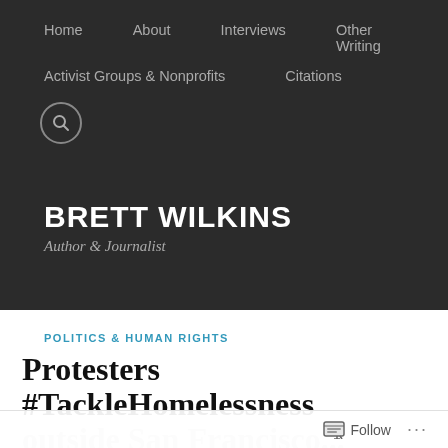Home  About  Interviews  Other Writing  Activist Groups & Nonprofits  Citations
BRETT WILKINS
Author & Journalist
POLITICS & HUMAN RIGHTS
Protesters #TackleHomelessness outside San Francisco...
Follow